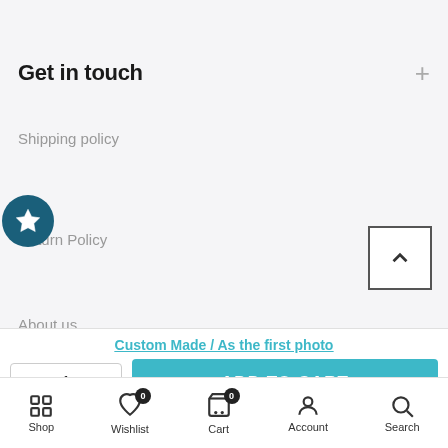Get in touch
Shipping policy
Return Policy
About us
Custom Made / As the first photo
- 1 +
ADD TO CART
Shop  Wishlist  Cart  Account  Search